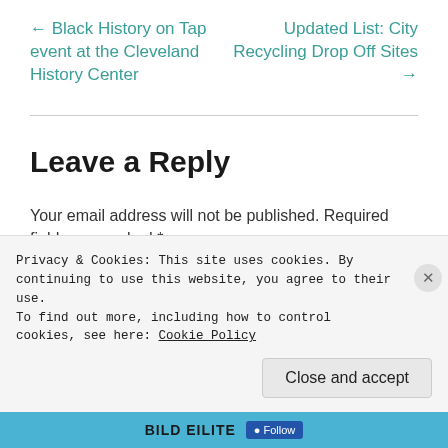← Black History on Tap event at the Cleveland History Center
Updated List: City Recycling Drop Off Sites →
Leave a Reply
Your email address will not be published. Required fields are marked *
Comment *
Privacy & Cookies: This site uses cookies. By continuing to use this website, you agree to their use.
To find out more, including how to control cookies, see here: Cookie Policy
Close and accept